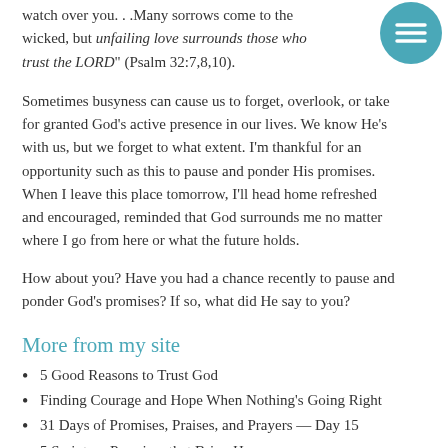watch over you. . .Many sorrows come to the wicked, but unfailing love surrounds those who trust the LORD" (Psalm 32:7,8,10).
Sometimes busyness can cause us to forget, overlook, or take for granted God’s active presence in our lives. We know He’s with us, but we forget to what extent. I’m thankful for an opportunity such as this to pause and ponder His promises. When I leave this place tomorrow, I’ll head home refreshed and encouraged, reminded that God surrounds me no matter where I go from here or what the future holds.
How about you? Have you had a chance recently to pause and ponder God’s promises? If so, what did He say to you?
More from my site
5 Good Reasons to Trust God
Finding Courage and Hope When Nothing’s Going Right
31 Days of Promises, Praises, and Prayers — Day 15
5 Scripture Promises that Bring Hope
Promises are Not Meant to Be Broken
The Power of a 3-Letter Word